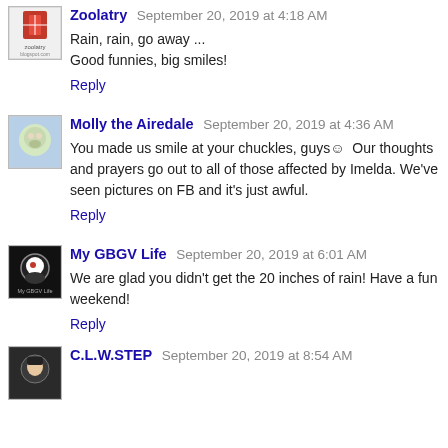Zoolatry September 20, 2019 at 4:18 AM
Rain, rain, go away ...
Good funnies, big smiles!
Reply
Molly the Airedale September 20, 2019 at 4:36 AM
You made us smile at your chuckles, guys☺  Our thoughts and prayers go out to all of those affected by Imelda. We've seen pictures on FB and it's just awful.
Reply
My GBGV Life September 20, 2019 at 6:01 AM
We are glad you didn't get the 20 inches of rain! Have a fun weekend!
Reply
C.L.W.STEP September 20, 2019 at 8:54 AM